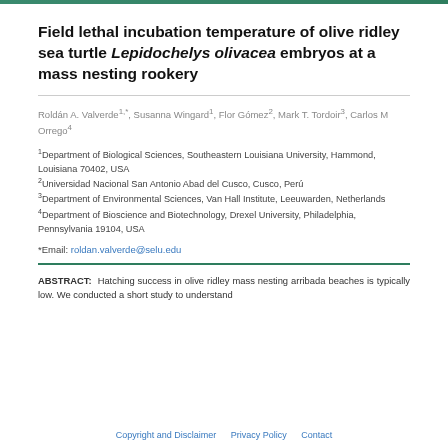Field lethal incubation temperature of olive ridley sea turtle Lepidochelys olivacea embryos at a mass nesting rookery
Roldán A. Valverde1,*, Susanna Wingard1, Flor Gómez2, Mark T. Tordoir3, Carlos M Orrego4
1Department of Biological Sciences, Southeastern Louisiana University, Hammond, Louisiana 70402, USA
2Universidad Nacional San Antonio Abad del Cusco, Cusco, Perú
3Department of Environmental Sciences, Van Hall Institute, Leeuwarden, Netherlands
4Department of Bioscience and Biotechnology, Drexel University, Philadelphia, Pennsylvania 19104, USA
*Email: roldan.valverde@selu.edu
ABSTRACT: Hatching success in olive ridley mass nesting arribada beaches is typically low. We conducted a short study to understand
Copyright and Disclaimer    Privacy Policy    Contact